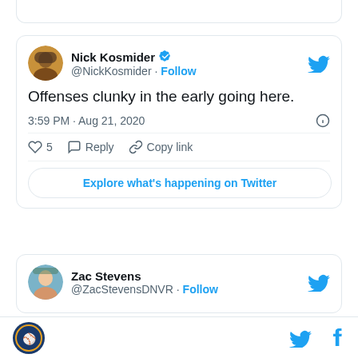[Figure (screenshot): Partial tweet card at top of page, cut off]
[Figure (screenshot): Tweet by Nick Kosmider (@NickKosmider) with verified badge. Text: 'Offenses clunky in the early going here.' Timestamp: 3:59 PM · Aug 21, 2020. Actions: 5 likes, Reply, Copy link. Button: Explore what's happening on Twitter.]
[Figure (screenshot): Partial tweet card by Zac Stevens (@ZacStevensDNVR) with Follow link, cut off at bottom.]
Footer bar with site logo, Twitter bird icon, and Facebook f icon